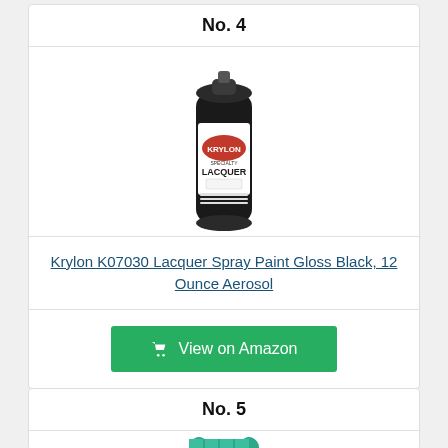No. 4
[Figure (photo): Krylon K07030 Lacquer Spray Paint can, black, 12 oz aerosol with red Krylon label]
Krylon K07030 Lacquer Spray Paint Gloss Black, 12 Ounce Aerosol
View on Amazon
No. 5
[Figure (photo): Teal/green rolled product visible at bottom of page]